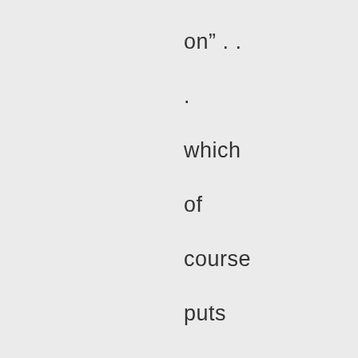on" . . . which of course puts me in the default position of being the hardhead . . . You